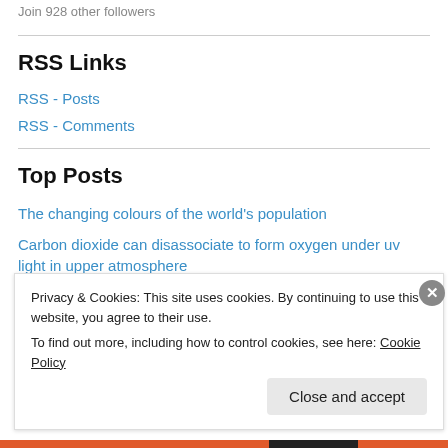Join 928 other followers
RSS Links
RSS - Posts
RSS - Comments
Top Posts
The changing colours of the world's population
Carbon dioxide can disassociate to form oxygen under uv light in upper atmosphere
Privacy & Cookies: This site uses cookies. By continuing to use this website, you agree to their use.
To find out more, including how to control cookies, see here: Cookie Policy